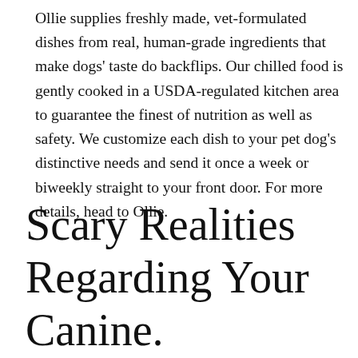Ollie supplies freshly made, vet-formulated dishes from real, human-grade ingredients that make dogs' taste do backflips. Our chilled food is gently cooked in a USDA-regulated kitchen area to guarantee the finest of nutrition as well as safety. We customize each dish to your pet dog's distinctive needs and send it once a week or biweekly straight to your front door. For more details, head to Ollie.
Scary Realities Regarding Your Canine.